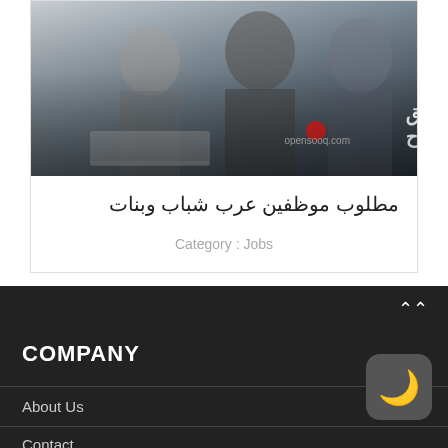[Figure (photo): Business professionals with laptop, with Arabic language marketplace logo overlay in top-right corner]
مطلوب موظفين عرب شباب وبنات
Category : Jobs
COMPANY
About Us
Contact